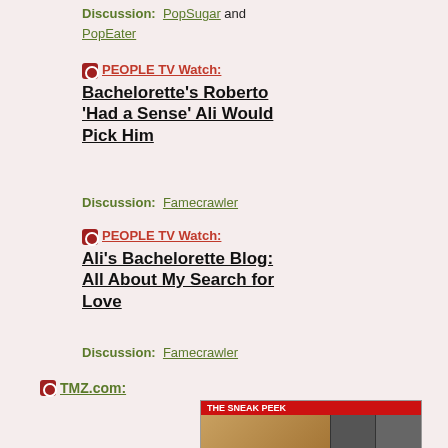Discussion: PopSugar and PopEater
PEOPLE TV Watch:
Bachelorette's Roberto 'Had a Sense' Ali Would Pick Him
Discussion: Famecrawler
PEOPLE TV Watch:
Ali's Bachelorette Blog: All About My Search for Love
Discussion: Famecrawler
TMZ.com:
[Figure (photo): TMZ sneak peek photo strip with text 'THE SNEAK PEEK' and 'LAUNCH PHOTOS']
Montana Fishburne — My Dad's 'Very Hurt' Over Porn — Laurence Fishburne's daughter tells TMZ that the legendary actor is "very hurt" over her new XXX career path ... but for some